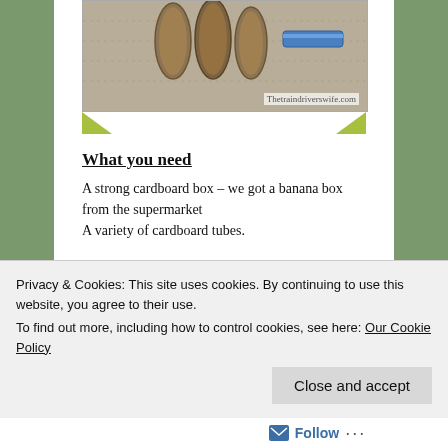[Figure (photo): Photo of cardboard tubes on carpet, with watermark 'Thetraindriversiwfe.com' in bottom right corner. Green corner decorations below the photo.]
What you need
A strong cardboard box – we got a banana box from the supermarket
A variety of cardboard tubes.
Playing with it
Buddy got the idea very quickly (helped by some rapturous applause and cheering from the Train
Privacy & Cookies: This site uses cookies. By continuing to use this website, you agree to their use.
To find out more, including how to control cookies, see here: Our Cookie Policy
Close and accept
Follow